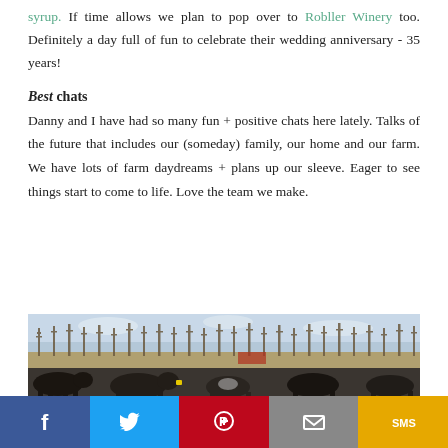syrup. If time allows we plan to pop over to Robller Winery too. Definitely a day full of fun to celebrate their wedding anniversary - 35 years!
Best chats
Danny and I have had so many fun + positive chats here lately. Talks of the future that includes our (someday) family, our home and our farm. We have lots of farm daydreams + plans up our sleeve. Eager to see things start to come to life. Love the team we make.
[Figure (photo): Outdoor farm scene showing a herd of black cattle in the foreground with bare deciduous trees and a field in the background under a partly cloudy sky.]